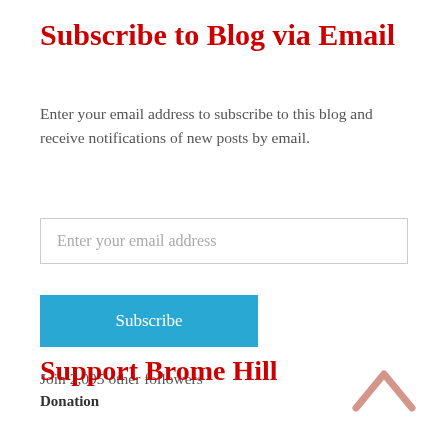Subscribe to Blog via Email
Enter your email address to subscribe to this blog and receive notifications of new posts by email.
Enter your email address
Subscribe
Join 2,095 other followers
Support Brome Hill
Donation